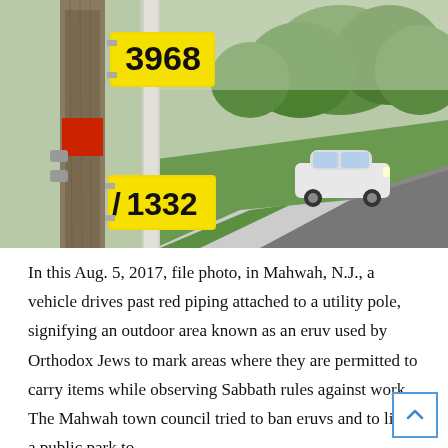[Figure (photo): A utility pole with numbered yellow signs (3968 and 1332) and red piping attached to it, in Mahwah, N.J. A white car drives past on a road lined with grass, a sidewalk, and green trees in the background.]
In this Aug. 5, 2017, file photo, in Mahwah, N.J., a vehicle drives past red piping attached to a utility pole, signifying an outdoor area known as an eruv used by Orthodox Jews to mark areas where they are permitted to carry items while observing Sabbath rules against work. The Mahwah town council tried to ban eruvs and to limit a public park to